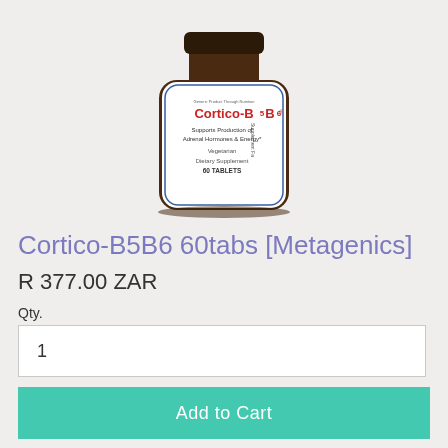[Figure (photo): Product photo of Cortico-B5B6 60 tablets by Metagenics supplement bottle with brown glass bottle and white label showing product name, description, and tablet count]
Cortico-B5B6 60tabs [Metagenics]
R 377.00 ZAR
Qty.
1
Add to Cart